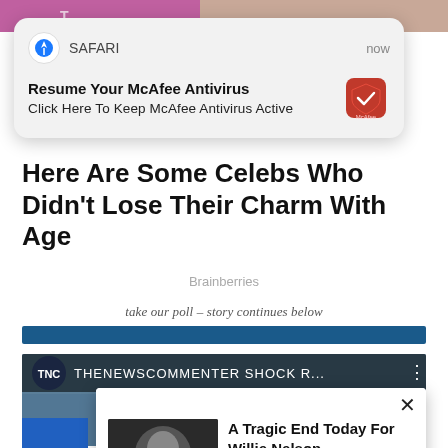[Figure (screenshot): Top image strip showing partial celebrity photo content behind a notification overlay]
[Figure (screenshot): Safari browser push notification card: 'Resume Your McAfee Antivirus / Click Here To Keep McAfee Antivirus Active' with McAfee logo]
Here Are Some Celebs Who Didn't Lose Their Charm With Age
Brainberries
take our poll – story continues below
[Figure (screenshot): Blue horizontal bar (poll/content separator)]
[Figure (screenshot): TNC (TheNewsCommenter) video thumbnail with text 'THENEWSCOMMENTER SHOCK R...' and a person's face in the background]
[Figure (screenshot): Pop-up ad overlay with X close button, image of Willie Nelson, headline 'A Tragic End Today For Willie Nelson', subtext 'Breaking News']